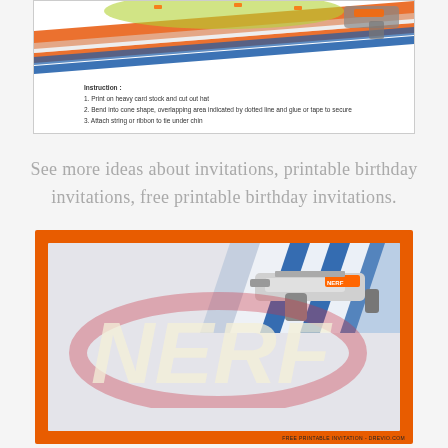[Figure (illustration): Top portion of a Nerf gun party hat printable showing colorful Nerf guns and orange/blue diagonal stripes]
Instruction :
1. Print on heavy card stock and cut out hat
2. Bend into cone shape, overlapping area indicated by dotted line and glue or tape to secure
3. Attach string or ribbon to tie under chin
See more ideas about invitations, printable birthday invitations, free printable birthday invitations.
[Figure (illustration): Nerf-themed birthday invitation card with orange border frame, diagonal blue and white stripes in top-right corner, a Nerf gun image in upper right, large transparent NERF logo in the center, and footer text: FREE PRINTABLE INVITATION - DREVIO.COM]